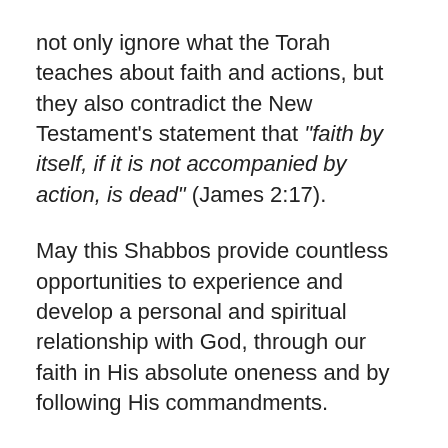not only ignore what the Torah teaches about faith and actions, but they also contradict the New Testament's statement that "faith by itself, if it is not accompanied by action, is dead" (James 2:17).
May this Shabbos provide countless opportunities to experience and develop a personal and spiritual relationship with God, through our faith in His absolute oneness and by following His commandments.
Shabbat Shalom,
Rabbi Bentzion Kravitz